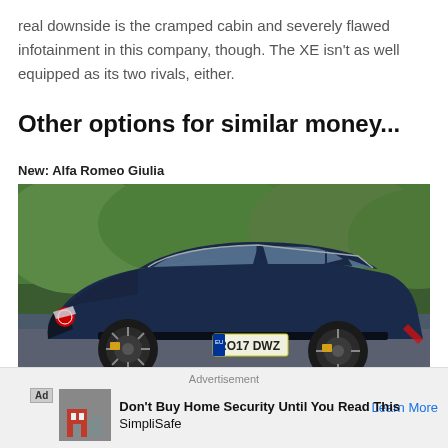real downside is the cramped cabin and severely flawed infotainment in this company, though. The XE isn't as well equipped as its two rivals, either.
Other options for similar money...
New: Alfa Romeo Giulia
[Figure (photo): Dark navy blue Alfa Romeo Giulia sedan with UK registration plate RO17 DWZ, parked in front of green trees/foliage, side profile view]
Advertisement
Ad Don't Buy Home Security Until You Read This SimpliSafe Learn More